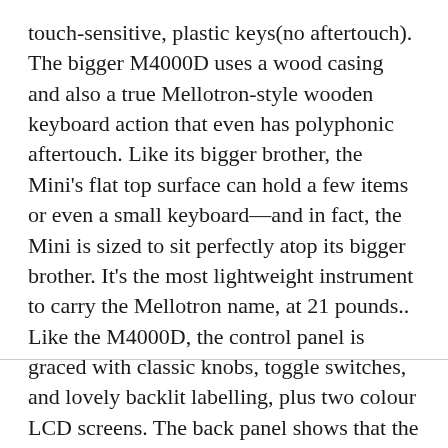touch-sensitive, plastic keys(no aftertouch). The bigger M4000D uses a wood casing and also a true Mellotron-style wooden keyboard action that even has polyphonic aftertouch. Like its bigger brother, the Mini's flat top surface can hold a few items or even a small keyboard—and in fact, the Mini is sized to sit perfectly atop its bigger brother. It's the most lightweight instrument to carry the Mellotron name, at 21 pounds.. Like the M4000D, the control panel is graced with classic knobs, toggle switches, and lovely backlit labelling, plus two colour LCD screens. The back panel shows that the Mini has most of the connectivity found in the larger M4000D, but no XLR audio outputs. MIDI is handled by five-pin in/out/thru ports, but there's no USB connectivity. Now that's old-school!